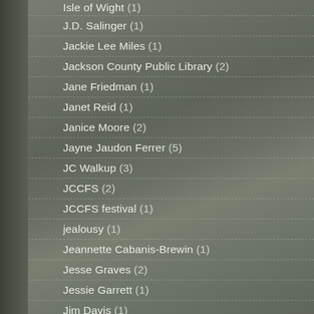Isle of Wight (1)
J.D. Salinger (1)
Jackie Lee Miles (1)
Jackson County Public Library (2)
Jane Friedman (1)
Janet Reid (1)
Janice Moore (2)
Jayne Jaudon Ferrer (5)
JC Walkup (3)
JCCFS (2)
JCCFS festival (1)
jealousy (1)
Jeannette Cabanis-Brewin (1)
Jesse Graves (2)
Jessie Garrett (1)
Jim Davis (1)
Jimmy Carter (1)
Jo Carolyn Beebe (1)
Joan Cannon (2)